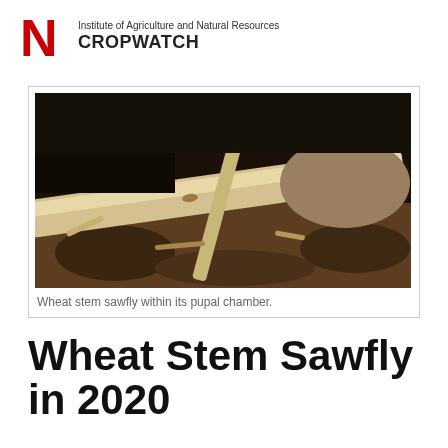Institute of Agriculture and Natural Resources CROPWATCH
[Figure (photo): Close-up photograph of a wheat stem sawfly within its pupal chamber, showing a pale yellowish-white stem section against dark soil and plant debris.]
Wheat stem sawfly within its pupal chamber.
Wheat Stem Sawfly in 2020